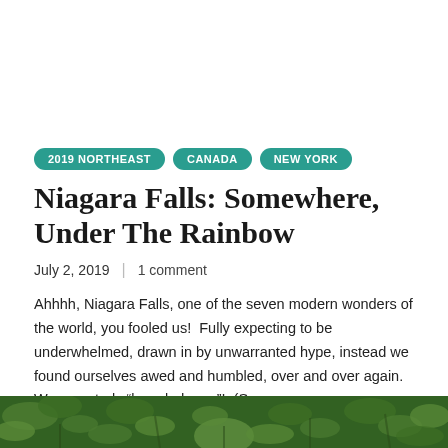2019 NORTHEAST
CANADA
NEW YORK
Niagara Falls: Somewhere, Under The Rainbow
July 2, 2019 | 1 comment
Ahhhh, Niagara Falls, one of the seven modern wonders of the world, you fooled us!  Fully expecting to be underwhelmed, drawn in by unwarranted hype, instead we found ourselves awed and humbled, over and over again.  We were truly “barreled over”!  (Sorry...
[Figure (photo): Photo strip at bottom showing green foliage/plants]